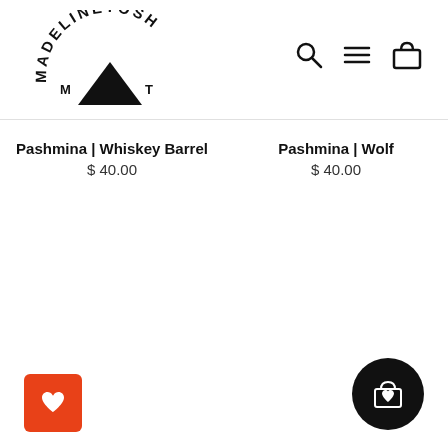[Figure (logo): Madelinetosh brand logo with arched text and triangle/mountain mark]
[Figure (illustration): Navigation icons: search magnifying glass, hamburger menu, shopping bag]
Pashmina | Whiskey Barrel
$ 40.00
Pashmina | Wolf
$ 40.00
[Figure (illustration): Orange square wishlist/heart button in bottom-left corner]
[Figure (illustration): Black circular cart/shopping bag button with heart in bottom-right corner]